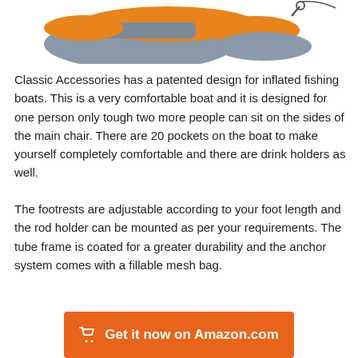[Figure (photo): Partial view of an orange and gray inflatable fishing boat/pontoon against a white background, showing the upper portion of the boat with carabiner clip visible.]
Classic Accessories has a patented design for inflated fishing boats. This is a very comfortable boat and it is designed for one person only tough two more people can sit on the sides of the main chair. There are 20 pockets on the boat to make yourself completely comfortable and there are drink holders as well.
The footrests are adjustable according to your foot length and the rod holder can be mounted as per your requirements. The tube frame is coated for a greater durability and the anchor system comes with a fillable mesh bag.
[Figure (other): Orange CTA button with shopping cart icon and text 'Get it now on Amazon.com']